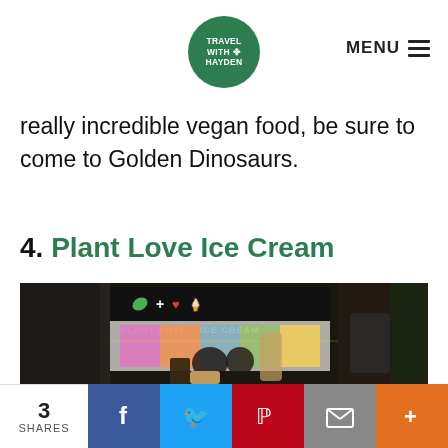TRAVEL WITH HAYDEN | MENU
really incredible vegan food, be sure to come to Golden Dinosaurs.
4. Plant Love Ice Cream
[Figure (photo): Exterior night shot of Plant Love Ice Cream storefront in an outdoor market setting, with illuminated signage showing the Plant Love Ice Cream logo (leaf, plus, heart, ice cream cone icons), people sitting at tables, and a foreground ice cream cone.]
3 SHARES | Facebook | Twitter | Pinterest | Email | +